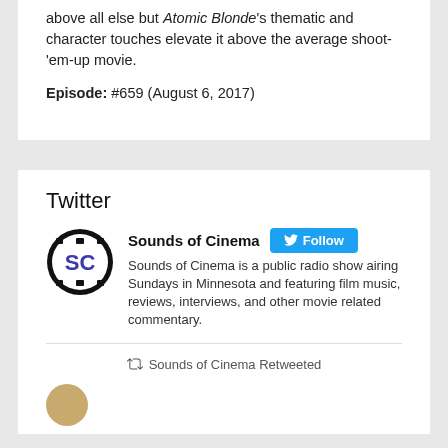above all else but Atomic Blonde's thematic and character touches elevate it above the average shoot-'em-up movie.
Episode: #659 (August 6, 2017)
Twitter
[Figure (logo): Sounds of Cinema Twitter profile logo — circular black border with film strip, 'SC' letters in blue on white background]
Sounds of Cinema — Follow button. Sounds of Cinema is a public radio show airing Sundays in Minnesota and featuring film music, reviews, interviews, and other movie related commentary.
Sounds of Cinema Retweeted